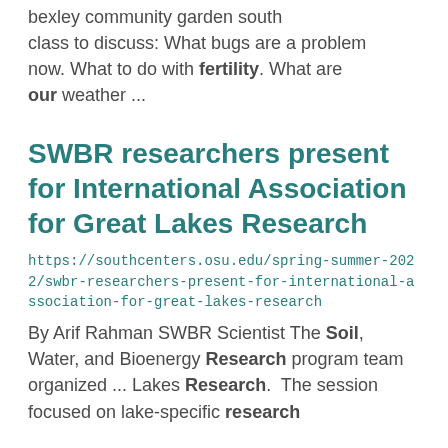bexley community garden south class to discuss: What bugs are a problem now. What to do with fertility. What are our weather ...
SWBR researchers present for International Association for Great Lakes Research
https://southcenters.osu.edu/spring-summer-2022/swbr-researchers-present-for-international-association-for-great-lakes-research
By Arif Rahman SWBR Scientist The Soil, Water, and Bioenergy Research program team organized ... Lakes Research.  The session focused on lake-specific research